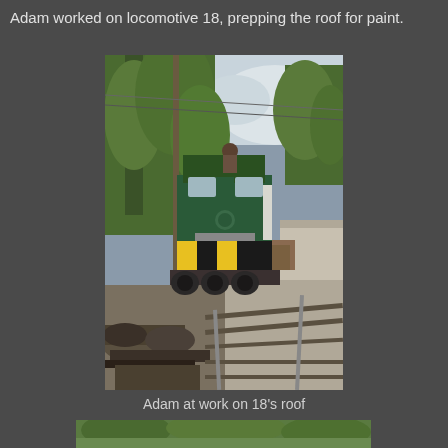Adam worked on locomotive 18, prepping the roof for paint.
[Figure (photo): A green locomotive (number 18) on railroad tracks surrounded by trees, with a person visible on the roof. Disassembled rail equipment in the foreground, gravel yard in background.]
Adam at work on 18's roof
[Figure (photo): Partial view of another outdoor scene with green foliage, bottom of page.]